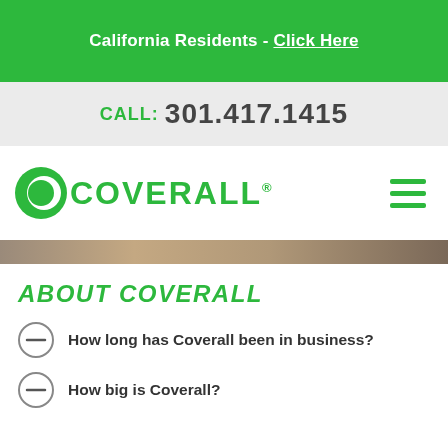California Residents - Click Here
CALL: 301.417.1415
[Figure (logo): Coverall logo with green C icon and COVERALL wordmark]
ABOUT COVERALL
How long has Coverall been in business?
How big is Coverall?